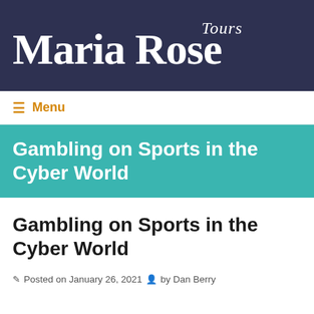Maria Rose Tours
≡ Menu
Gambling on Sports in the Cyber World
Gambling on Sports in the Cyber World
Posted on January 26, 2021  by Dan Berry